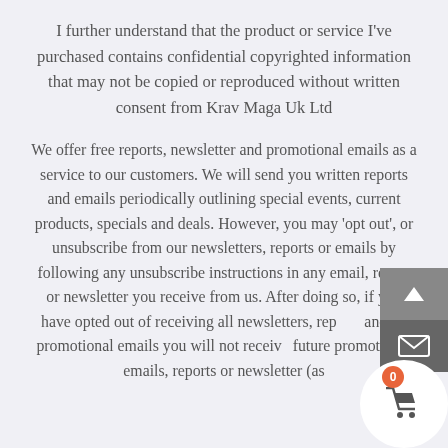I further understand that the product or service I've purchased contains confidential copyrighted information that may not be copied or reproduced without written consent from Krav Maga Uk Ltd
We offer free reports, newsletter and promotional emails as a service to our customers. We will send you written reports and emails periodically outlining special events, current products, specials and deals. However, you may 'opt out', or unsubscribe from our newsletters, reports or emails by following any unsubscribe instructions in any email, report or newsletter you receive from us. After doing so, if you have opted out of receiving all newsletters, reports and all promotional emails you will not receive future promotional emails, reports or newsletter (as